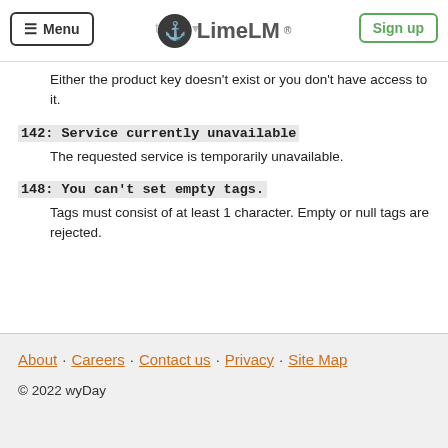Menu · tags · LimeLM · Sign up
Either the product key doesn't exist or you don't have access to it.
142: Service currently unavailable
The requested service is temporarily unavailable.
148: You can't set empty tags.
Tags must consist of at least 1 character. Empty or null tags are rejected.
About · Careers · Contact us · Privacy · Site Map
© 2022 wyDay